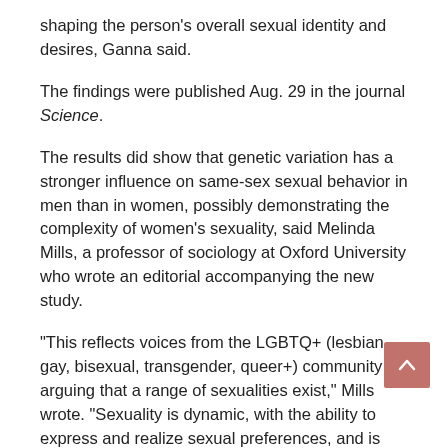shaping the person's overall sexual identity and desires, Ganna said.
The findings were published Aug. 29 in the journal Science.
The results did show that genetic variation has a stronger influence on same-sex sexual behavior in men than in women, possibly demonstrating the complexity of women's sexuality, said Melinda Mills, a professor of sociology at Oxford University who wrote an editorial accompanying the new study.
"This reflects voices from the LGBTQ+ (lesbian, gay, bisexual, transgender, queer+) community arguing that a range of sexualities exist," Mills wrote. "Sexuality is dynamic, with the ability to express and realize sexual preferences, and is thus also shaped and regulated by cultural, political, social, legal and religious structures."
The five specific genes related to same-sex desire cropped up